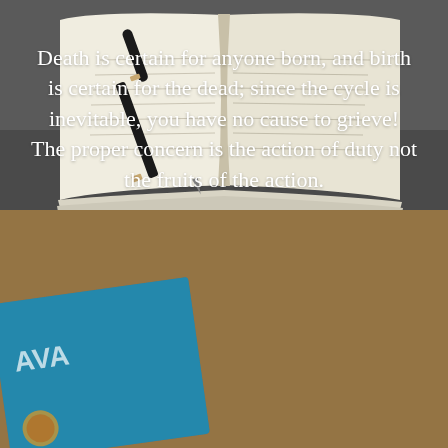[Figure (photo): Open notebook with a black and gold fountain pen resting on the pages, on a dark surface]
[Figure (photo): Background showing a blue book/card against a warm tan/brown surface with overlaid white quote text]
Death is certain for anyone born, and birth is certain for the dead; since the cycle is inevitable, you have no cause to grieve! The proper concern is the action of duty not the fruits of the action.